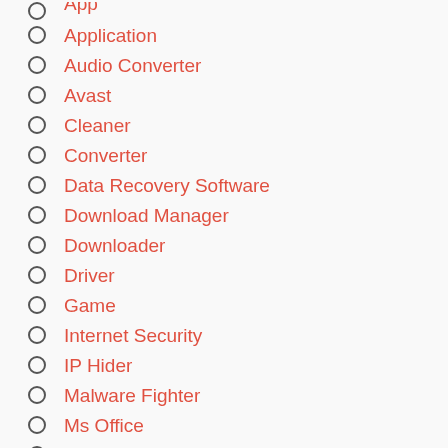Application
Audio Converter
Avast
Cleaner
Converter
Data Recovery Software
Download Manager
Downloader
Driver
Game
Internet Security
IP Hider
Malware Fighter
Ms Office
Multimedia